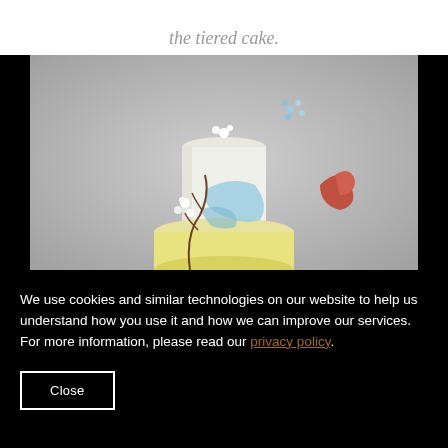the tiered cake.
[Figure (photo): A decorated two-tiered white wedding cake with floral decorations including blue, white, and red/orange flowers, twigs, and blue ribbon-like accents, on a gray background.]
We use cookies and similar technologies on our website to help us understand how you use it and how we can improve our services. For more information, please read our privacy policy.
Close